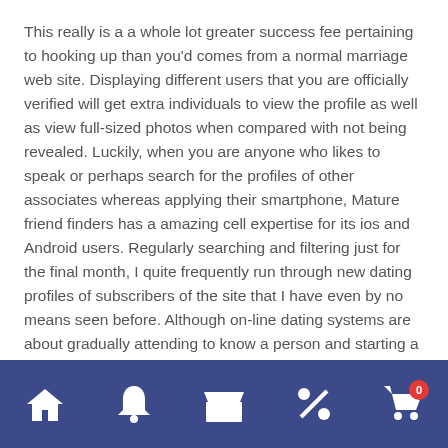This really is a a whole lot greater success fee pertaining to hooking up than you'd comes from a normal marriage web site. Displaying different users that you are officially verified will get extra individuals to view the profile as well as view full-sized photos when compared with not being revealed. Luckily, when you are anyone who likes to speak or perhaps search for the profiles of other associates whereas applying their smartphone, Mature friend finders has a amazing cell expertise for its ios and Android users. Regularly searching and filtering just for the final month, I quite frequently run through new dating profiles of subscribers of the site that I have even by no means seen before. Although on-line dating systems are about gradually attending to know a person and starting a attachment, AdultFriendFinder is a fastest means so that you can receive some actions.
Navigation bar with home, bell, store, percent, and cart icons